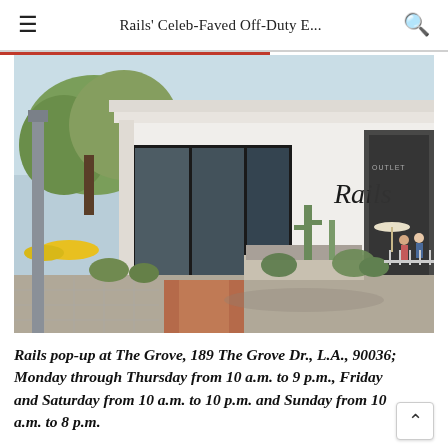Rails' Celeb-Faved Off-Duty E...
[Figure (photo): Exterior photo of the Rails pop-up store at The Grove, Los Angeles. A modern white minimalist building with large black-framed glass sliding doors. The Rails brand name is written in cursive script on the white facade. Cacti and tropical plants are arranged in front of the building. A paved walkway with brick accents leads to the entrance. Trees visible in the background, and other retail storefronts visible to the right.]
Rails pop-up at The Grove, 189 The Grove Dr., L.A., 90036; Monday through Thursday from 10 a.m. to 9 p.m., Friday and Saturday from 10 a.m. to 10 p.m. and Sunday from 10 a.m. to 8 p.m.